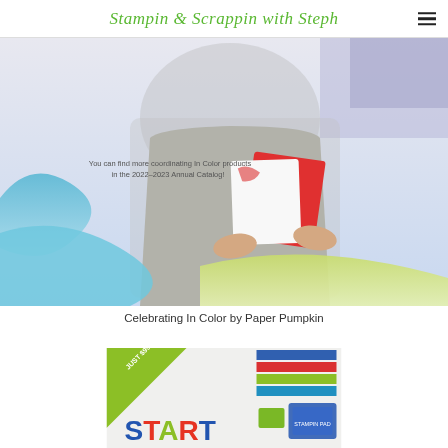Stampin & Scrappin with Steph
[Figure (photo): Person holding a greeting card and red envelope with colorful wave shapes in background. Text overlay reads: 'You can find more coordinating In Color products in the 2022–2023 Annual Catalog!']
Celebrating In Color by Paper Pumpkin
[Figure (photo): Catalog banner with green corner badge reading 'JUST $99' and colorful 'START' text, showing craft supplies including paper pads and stamp pads. Bottom text reads 'YOUR BUSINESS!']